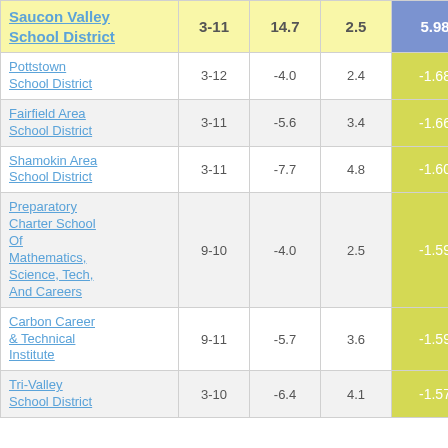| School/District | Grades | Col3 | Col4 | Score |  |
| --- | --- | --- | --- | --- | --- |
| Saucon Valley School District | 3-11 | 14.7 | 2.5 | 5.98 |  |
| Pottstown School District | 3-12 | -4.0 | 2.4 | -1.68 |  |
| Fairfield Area School District | 3-11 | -5.6 | 3.4 | -1.66 |  |
| Shamokin Area School District | 3-11 | -7.7 | 4.8 | -1.60 |  |
| Preparatory Charter School Of Mathematics, Science, Tech, And Careers | 9-10 | -4.0 | 2.5 | -1.59 |  |
| Carbon Career & Technical Institute | 9-11 | -5.7 | 3.6 | -1.59 |  |
| Tri-Valley School District | 3-10 | -6.4 | 4.1 | -1.57 |  |